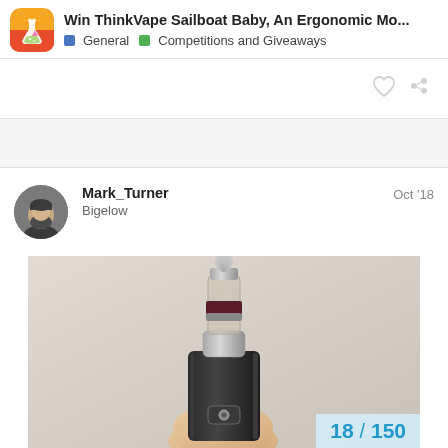Win ThinkVape Sailboat Baby, An Ergonomic Mo... | General | Competitions and Giveaways
Mark_Turner
Bigelow
Oct '18
[Figure (photo): A hand holding a black box mod vape device with a tall silver atomizer/tank topped with a rounded drip tip, against a light gray background. The device has a visible power button on the front.]
18 / 150